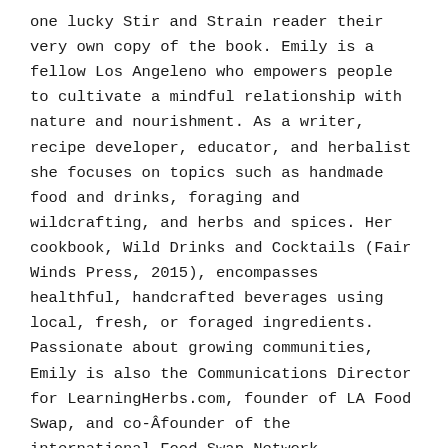one lucky Stir and Strain reader their very own copy of the book. Emily is a fellow Los Angeleno who empowers people to cultivate a mindful relationship with nature and nourishment. As a writer, recipe developer, educator, and herbalist she focuses on topics such as handmade food and drinks, foraging and wildcrafting, and herbs and spices. Her cookbook, Wild Drinks and Cocktails (Fair Winds Press, 2015), encompasses healthful, handcrafted beverages using local, fresh, or foraged ingredients. Passionate about growing communities, Emily is also the Communications Director for LearningHerbs.com, founder of LA Food Swap, and co-Âfounder of the international Food Swap Network.
Want a taste? Check out Emily's recipe for Hazelnut